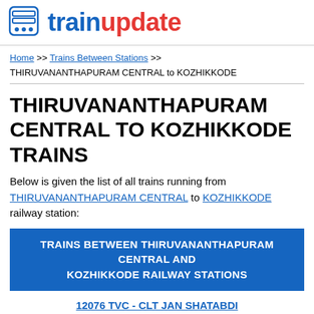trainupdate
Home >> Trains Between Stations >> THIRUVANANTHAPURAM CENTRAL to KOZHIKKODE
THIRUVANANTHAPURAM CENTRAL TO KOZHIKKODE TRAINS
Below is given the list of all trains running from THIRUVANANTHAPURAM CENTRAL to KOZHIKKODE railway station:
TRAINS BETWEEN THIRUVANANTHAPURAM CENTRAL AND KOZHIKKODE RAILWAY STATIONS
12076 TVC - CLT JAN SHATABDI
THIRUVANANTHAPURAM ... KOZHIKKODE